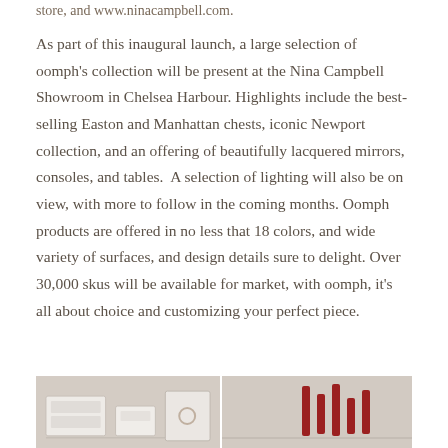store, and www.ninacampbell.com.
As part of this inaugural launch, a large selection of oomph's collection will be present at the Nina Campbell Showroom in Chelsea Harbour. Highlights include the best-selling Easton and Manhattan chests, iconic Newport collection, and an offering of beautifully lacquered mirrors, consoles, and tables.  A selection of lighting will also be on view, with more to follow in the coming months. Oomph products are offered in no less that 18 colors, and wide variety of surfaces, and design details sure to delight. Over 30,000 skus will be available for market, with oomph, it's all about choice and customizing your perfect piece.
[Figure (photo): Two side-by-side photos at the bottom of the page showing furniture/decor items in a showroom setting. Left image shows white furniture pieces. Right image shows a red decorative item against a wall.]